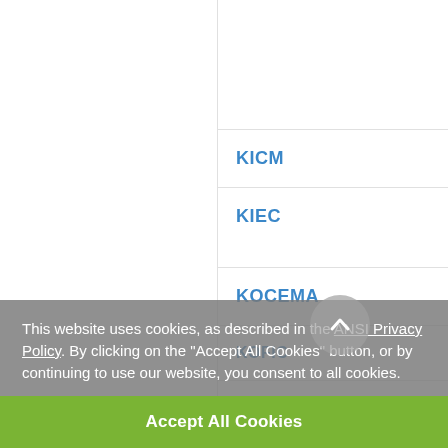KICM
KIEC
KOCEMA
KOFIC
KOMERI [Korean only]
KOMMA
This website uses cookies, as described in the ANSI Privacy Policy. By clicking on the "Accept All Cookies" button, or by continuing to use our website, you consent to all cookies.